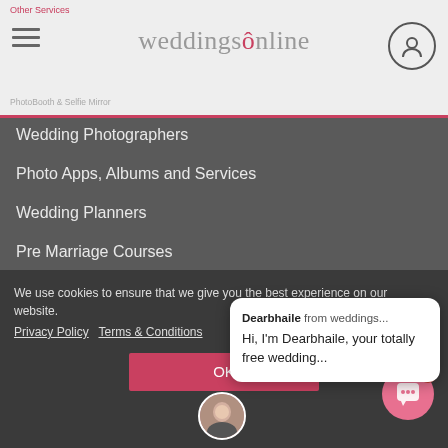weddingsonline — Other Services / PhotoBooth & Selfie Mirror
Wedding Photographers
Photo Apps, Albums and Services
Wedding Planners
Pre Marriage Courses
Wedding Speeches
Wedding Suits
Sweet Treats & Candy Buffets
Wedding Videographers
Wedding Accessories and Occasion Wear
[Figure (screenshot): Chat popup from Dearbhaile: 'Dearbhaile from weddings... Hi, I'm Dearbhaile, your totally free wedding...' with avatar photo]
We use cookies to ensure that we give you the best experience on our website. Privacy Policy   Terms & Conditions
OK